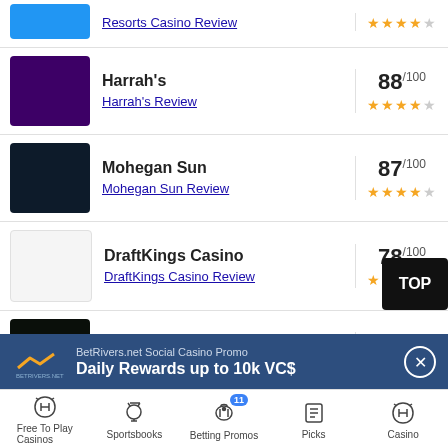Resorts Casino Review ★★★★½
Harrah's — 88/100 ★★★★½ — Harrah's Review
Mohegan Sun — 87/100 ★★★★½ — Mohegan Sun Review
DraftKings Casino — 78/100 ★★★★ — DraftKings Casino Review
Tropicana — 78/100 ★★★★ — Tropicana Review
[Figure (infographic): BetRivers.net Social Casino Promo banner: Daily Rewards up to 10k VC$]
Free To Play Casinos | Sportsbooks | Betting Promos 11 | Picks | Casino